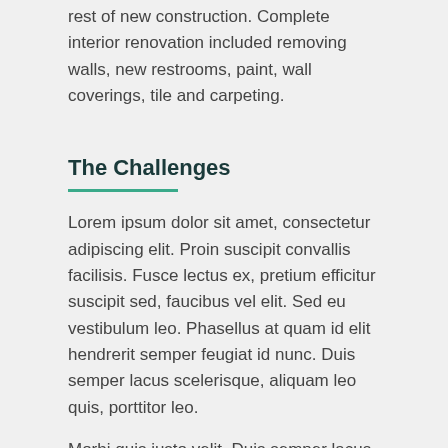rest of new construction. Complete interior renovation included removing walls, new restrooms, paint, wall coverings, tile and carpeting.
The Challenges
Lorem ipsum dolor sit amet, consectetur adipiscing elit. Proin suscipit convallis facilisis. Fusce lectus ex, pretium efficitur suscipit sed, faucibus vel elit. Sed eu vestibulum leo. Phasellus at quam id elit hendrerit semper feugiat id nunc. Duis semper lacus scelerisque, aliquam leo quis, porttitor leo.
Morbi quis justo velit. Duis semper lacus scelerisque, aliquam leo quis, porttitor leo. Etiam lobortis dapibus libero vel porttitor. Nulla tempor elit nec feugiat tempus.Phasellus at quam id elit hendrerit semper